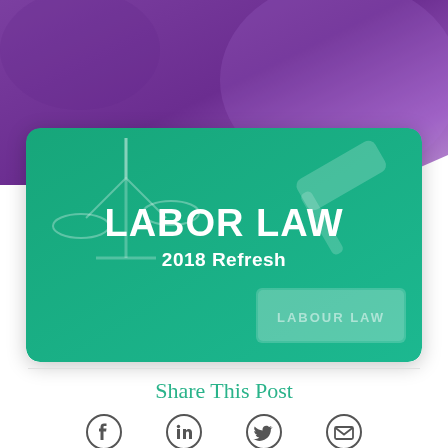[Figure (illustration): Purple gradient hero background with abstract fabric/cloth texture]
[Figure (illustration): Green teal card with justice scales and gavel imagery, overlaid with text 'LABOR LAW 2018 Refresh' and a 'LABOUR LAW' book visible at bottom right]
Share This Post
[Figure (infographic): Row of four social sharing icons: Facebook, LinkedIn, Twitter, Email]